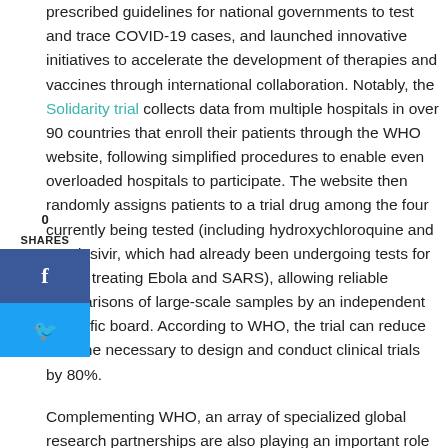prescribed guidelines for national governments to test and trace COVID-19 cases, and launched innovative initiatives to accelerate the development of therapies and vaccines through international collaboration. Notably, the Solidarity trial collects data from multiple hospitals in over 90 countries that enroll their patients through the WHO website, following simplified procedures to enable even overloaded hospitals to participate. The website then randomly assigns patients to a trial drug among the four currently being tested (including hydroxychloroquine and remdesivir, which had already been undergoing tests for use in treating Ebola and SARS), allowing reliable comparisons of large-scale samples by an independent scientific board. According to WHO, the trial can reduce the time necessary to design and conduct clinical trials by 80%.
Complementing WHO, an array of specialized global research partnerships are also playing an important role in coordinating global efforts. These include:
The Coalition for Epidemic Preparedness Innovations (CEPI)